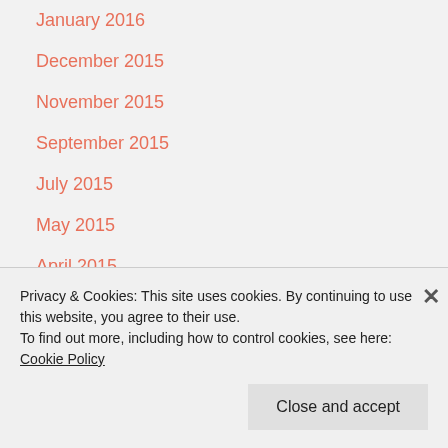January 2016
December 2015
November 2015
September 2015
July 2015
May 2015
April 2015
March 2015
February 2015
January 2015
December 2014
Privacy & Cookies: This site uses cookies. By continuing to use this website, you agree to their use.
To find out more, including how to control cookies, see here: Cookie Policy